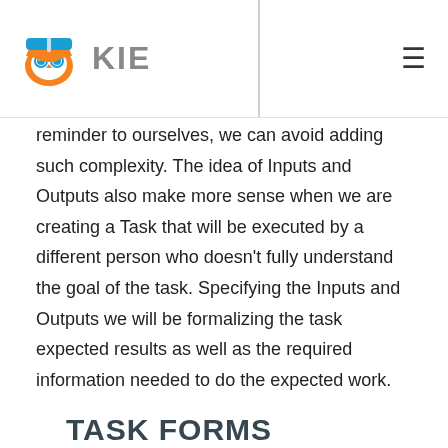KIE
reminder to ourselves, we can avoid adding such complexity. The idea of Inputs and Outputs also make more sense when we are creating a Task that will be executed by a different person who doesn't fully understand the goal of the task. Specifying the Inputs and Outputs we will be formalizing the task expected results as well as the required information needed to do the expected work.
TASK FORMS
The final goal of Task Lists and all the